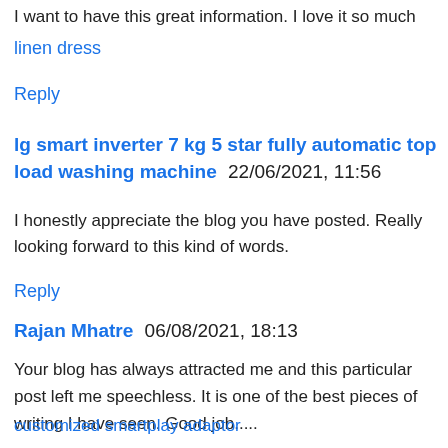I want to have this great information. I love it so much
linen dress
Reply
lg smart inverter 7 kg 5 star fully automatic top load washing machine  22/06/2021, 11:56
I honestly appreciate the blog you have posted. Really looking forward to this kind of words.
Reply
Rajan Mhatre  06/08/2021, 18:13
Your blog has always attracted me and this particular post left me speechless. It is one of the best pieces of writing I have seen. Good job.....
customized smartplay adaptor
Reply